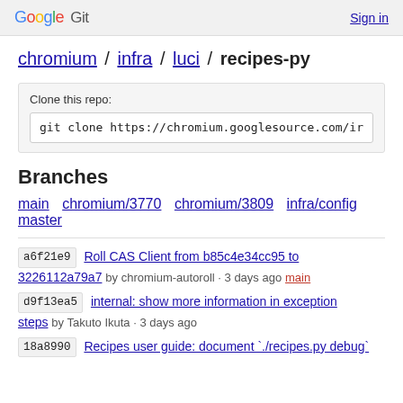Google Git  Sign in
chromium / infra / luci / recipes-py
Clone this repo:
git clone https://chromium.googlesource.com/ir
Branches
main  chromium/3770  chromium/3809  infra/config  master
a6f21e9  Roll CAS Client from b85c4e34cc95 to 3226112a79a7 by chromium-autoroll · 3 days ago  main
d9f13ea5  internal: show more information in exception steps by Takuto Ikuta · 3 days ago
18a8990  Recipes user guide: document `./recipes.py debug`